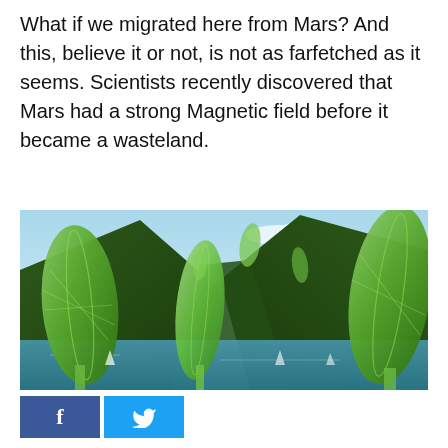What if we migrated here from Mars? And this, believe it or not, is not as farfetched as it seems. Scientists recently discovered that Mars had a strong Magnetic field before it became a wasteland.
[Figure (illustration): Futuristic illustration showing giant green leaf-shaped or seed-pod structures rising from a lake surrounded by forested mountains, with smaller floating pod shapes in the sky above.]